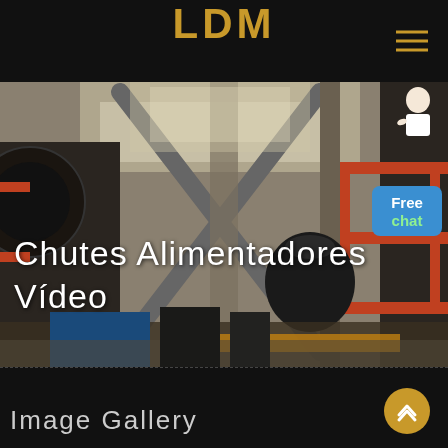LDM
[Figure (photo): Industrial manufacturing facility interior with heavy machinery, structural steel beams forming an X-pattern, conveyor equipment, and large industrial machines on a factory floor. Text overlay reads 'Chutes Alimentadores Vídeo'.]
Chutes Alimentadores Vídeo
Free chat
Image Gallery